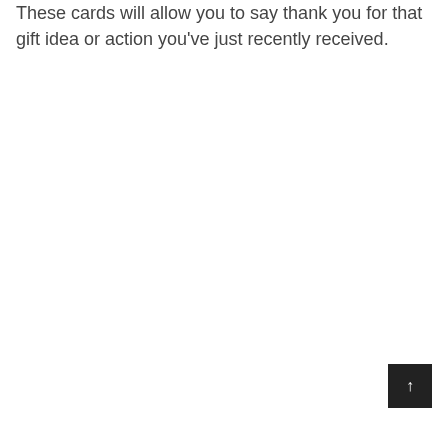These cards will allow you to say thank you for that gift idea or action you've just recently received.
↑